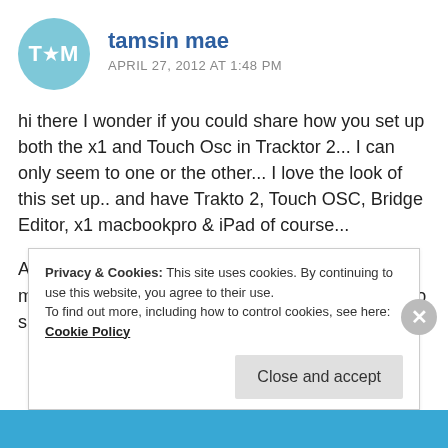[Figure (illustration): Circular avatar with teal/light-blue background showing the letters T, a star, and M in white]
tamsin mae
APRIL 27, 2012 AT 1:48 PM
hi there I wonder if you could share how you set up both the x1 and Touch Osc in Tracktor 2... I can only seem to one or the other... I love the look of this set up.. and have Trakto 2, Touch OSC, Bridge Editor, x1 macbookpro & iPad of course...
Also are you still using this set up has it changed much, do you have any good mapping templates to share??? 😉 TMx
Privacy & Cookies: This site uses cookies. By continuing to use this website, you agree to their use.
To find out more, including how to control cookies, see here: Cookie Policy
Close and accept